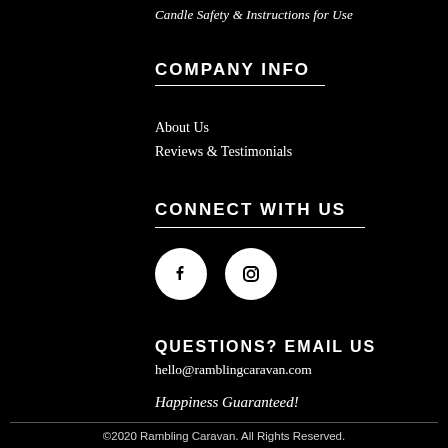Candle Safety & Instructions for Use
COMPANY INFO
About Us
Reviews & Testimonials
CONNECT WITH US
[Figure (illustration): Facebook and Instagram social media icon circles (white circles with black icons)]
QUESTIONS? EMAIL US
hello@ramblingcaravan.com
Happiness Guaranteed!
©2020 Rambling Caravan. All Rights Reserved.